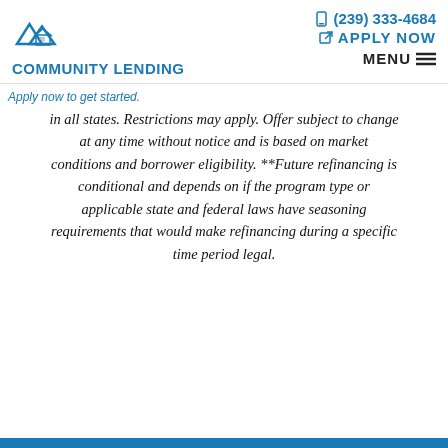[Figure (logo): Community Lending logo with house/roof icon and company name]
(239) 333-4684  APPLY NOW  MENU
in all states. Restrictions may apply. Offer subject to change at any time without notice and is based on market conditions and borrower eligibility. **Future refinancing is conditional and depends on if the program type or applicable state and federal laws have seasoning requirements that would make refinancing during a specific time period legal.